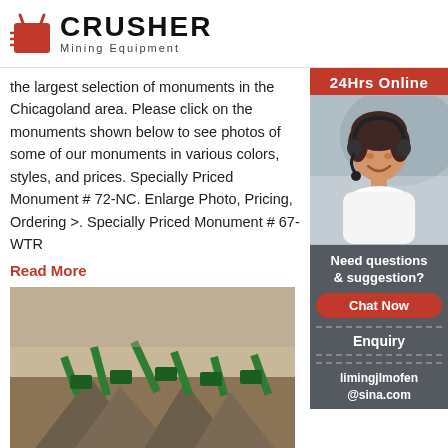[Figure (logo): Crusher Mining Equipment logo with red shopping bag icon and bold CRUSHER text]
the largest selection of monuments in the Chicagoland area. Please click on the monuments shown below to see photos of some of our monuments in various colors, styles, and prices. Specially Priced Monument # 72-NC. Enlarge Photo, Pricing, Ordering >. Specially Priced Monument # 67-WTR
Read More
[Figure (photo): Aerial view of a large mining/crushing equipment facility with multiple conveyors and machinery surrounded by gravel piles]
General Services Administration F… Acquisition ...
Peter Hesse, EVP & CSO . 703-935-1919 peter.hesse@10pearlsfederal . Vienna, VA 2218… . CONTRACT PERIOD . 06/27/2018 through 06… General Services Administration Federal Acquisition Service
[Figure (photo): 24Hrs Online sidebar with woman wearing headset customer service photo]
24Hrs Online
Need questions & suggestion?
Chat Now
Enquiry
limingjlmofen@sina.com